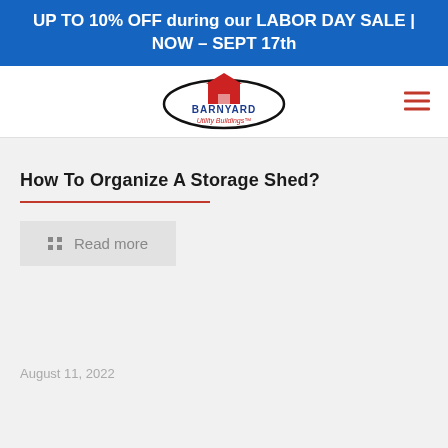UP TO 10% OFF during our LABOR DAY SALE | NOW – SEPT 17th
[Figure (logo): Barnyard Utility Buildings logo with red barn graphic and text]
How To Organize A Storage Shed?
Read more
August 11, 2022